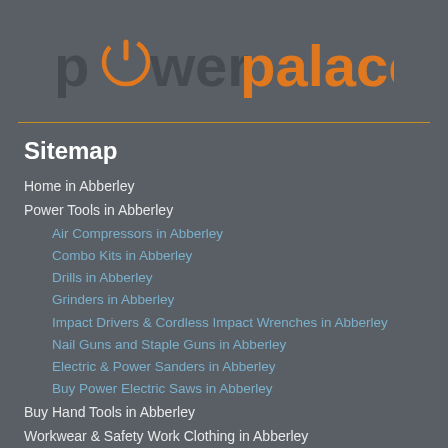[Figure (logo): Power Palace logo with power icon symbol inside the letter 'o' of 'power', with 'power' in dark charcoal/grey and 'palace' in orange, large bold sans-serif font.]
Sitemap
Home in Abberley
Power Tools in Abberley
Air Compressors in Abberley
Combo Kits in Abberley
Drills in Abberley
Grinders in Abberley
Impact Drivers & Cordless Impact Wrenches in Abberley
Nail Guns and Staple Guns in Abberley
Electric & Power Sanders in Abberley
Buy Power Electric Saws in Abberley
Buy Hand Tools in Abberley
Workwear & Safety Work Clothing in Abberley
Power Tool Accessories in Abberley